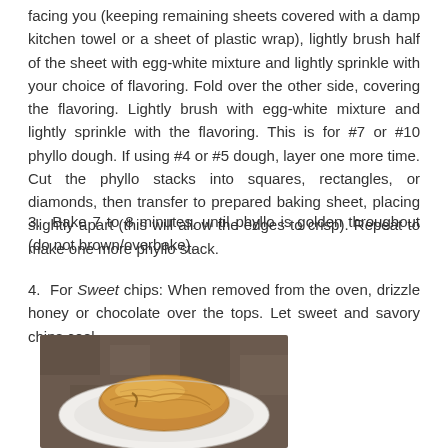facing you (keeping remaining sheets covered with a damp kitchen towel or a sheet of plastic wrap), lightly brush half of the sheet with egg-white mixture and lightly sprinkle with your choice of flavoring. Fold over the other side, covering the flavoring. Lightly brush with egg-white mixture and lightly sprinkle with the flavoring. This is for #7 or #10 phyllo dough. If using #4 or #5 dough, layer one more time. Cut the phyllo stacks into squares, rectangles, or diamonds, then transfer to prepared baking sheet, placing slightly apart (this will allow the edges to crisp). Repeat to make one more phyllo stack.
3. Bake 7 to 8 minutes, until phyllo is golden throughout (do not brown/overbake).
4. For Sweet chips: When removed from the oven, drizzle honey or chocolate over the tops. Let sweet and savory chips cool.
[Figure (photo): A golden-brown baked phyllo pastry on a white plate, photographed close up.]